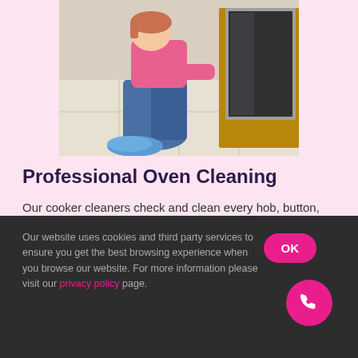[Figure (photo): Person crouching down cleaning an oven door, wearing a pink top, jeans, and blue shoe covers, on a tiled floor]
Professional Oven Cleaning
Our cooker cleaners check and clean every hob, button, and panel plus fan, racks, door and extractor filters.
Our website uses cookies and third party services to ensure you get the best browsing experience when you browse our website. For more information please visit our privacy policy page.